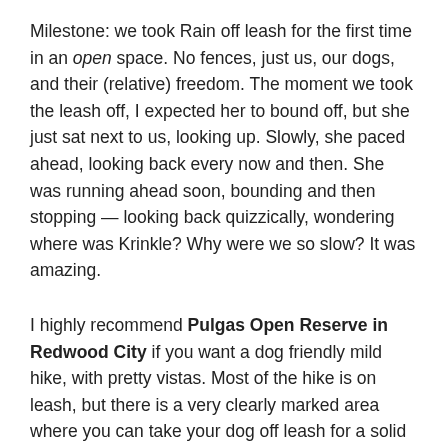Milestone: we took Rain off leash for the first time in an open space. No fences, just us, our dogs, and their (relative) freedom. The moment we took the leash off, I expected her to bound off, but she just sat next to us, looking up. Slowly, she paced ahead, looking back every now and then. She was running ahead soon, bounding and then stopping — looking back quizzically, wondering where was Krinkle? Why were we so slow? It was amazing.
I highly recommend Pulgas Open Reserve in Redwood City if you want a dog friendly mild hike, with pretty vistas. Most of the hike is on leash, but there is a very clearly marked area where you can take your dog off leash for a solid walk. They can play and roam. Beware though, there is a good deal of poison oak lurking about.